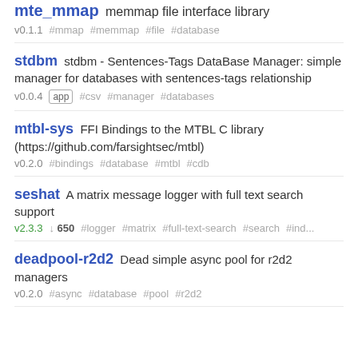mte_mmap  memmap file interface library
v0.1.1  #mmap  #memmap  #file  #database
stdbm  stdbm - Sentences-Tags DataBase Manager: simple manager for databases with sentences-tags relationship
v0.0.4  app  #csv  #manager  #databases
mtbl-sys  FFI Bindings to the MTBL C library (https://github.com/farsightsec/mtbl)
v0.2.0  #bindings  #database  #mtbl  #cdb
seshat  A matrix message logger with full text search support
v2.3.3  ↓650  #logger  #matrix  #full-text-search  #search  #ind...
deadpool-r2d2  Dead simple async pool for r2d2 managers
v0.2.0  #async  #database  #pool  #r2d2